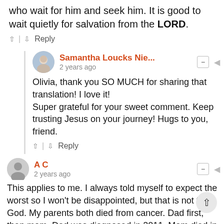who wait for him and seek him. It is good to wait quietly for salvation from the LORD.
^ | v Reply
Samantha Loucks Nie... · 2 years ago
Olivia, thank you SO MUCH for sharing that translation! I love it! Super grateful for your sweet comment. Keep trusting Jesus on your journey! Hugs to you, friend.
^ | v Reply
A C · 2 years ago
This applies to me. I always told myself to expect the worst so I won't be disappointed, but that is not from God. My parents both died from cancer. Dad first, then mom. Dad was diagnosed in 2011. Mom died in 2019. Eight years, I felt like I was waking up into a nightmare of a life every day, and all I wanted